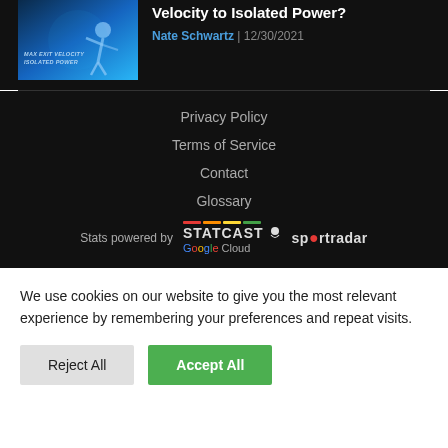[Figure (illustration): Article thumbnail image with blue baseball player swinging and text overlay reading MAX EXIT VELOCITY ISOLATED POWER]
Velocity to Isolated Power?
Nate Schwartz | 12/30/2021
Privacy Policy
Terms of Service
Contact
Glossary
[Figure (logo): Stats powered by Statcast (Google Cloud) and Sportradar logos]
We use cookies on our website to give you the most relevant experience by remembering your preferences and repeat visits.
Reject All
Accept All